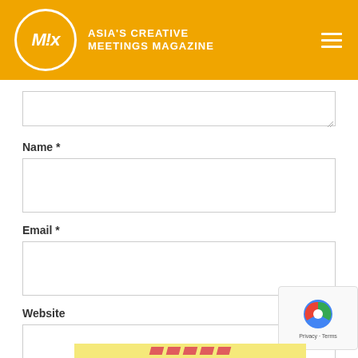ASIA'S CREATIVE MEETINGS MAGAZINE
Name *
Email *
Website
Post Comment